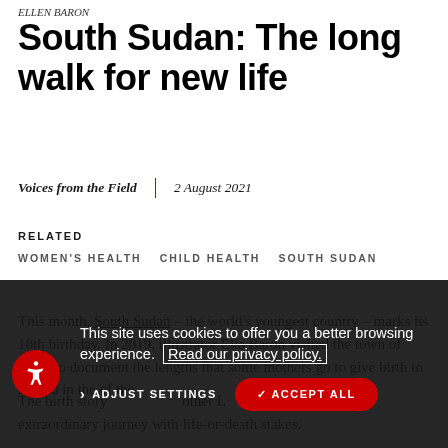ELLEN BARON
South Sudan: The long walk for new life
Voices from the Field  |  2 August 2021
RELATED
WOMEN'S HEALTH
CHILD HEALTH
SOUTH SUDAN
This month, South Sudan – the world's youngest country – marks its 10th birthday. In 2019, illustrator Ella Baron visited the town of Pibor to document the lengths that some mothers go to give birth to a child in the of the world.
The birth story of mother L extraordinary journey with life-or-death stakes.
This site uses cookies to offer you a better browsing experience.  Read our privacy policy.
ADJUST SETTINGS
✓ ACCEPT ALL